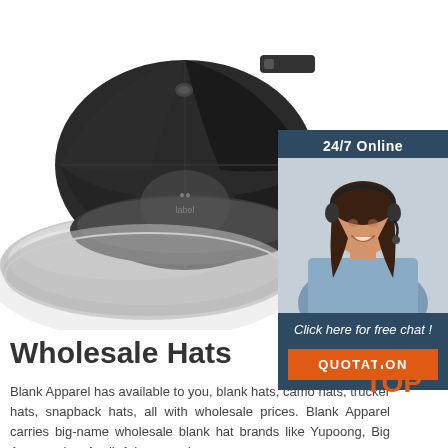[Figure (photo): Underside view of a black and silver baseball cap with visible sweatband and stitching detail]
[Figure (infographic): 24/7 Online customer support chat widget with a smiling woman wearing a headset, blue-gray background, 'Click here for free chat!' text, and orange QUOTATION button]
Wholesale Hats
Blank Apparel has available to you, blank hats, camo hats, trucker hats, snapback hats, all with wholesale prices. Blank Apparel carries big-name wholesale blank hat brands like Yupoong, Big Accessories, Anvil, Adams, and more.
[Figure (logo): TOP badge with orange dots and orange bold text]